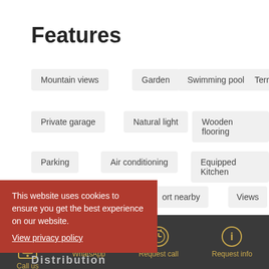Features
Mountain views
Garden
Swimming pool
Terrace
Private garage
Natural light
Wooden flooring
Parking
Air conditioning
Equipped Kitchen
…ort nearby
Views
This website uses cookies to ensure you get the best experience on our website. View privacy policy
Call us | WhatsApp | Request call | Request info